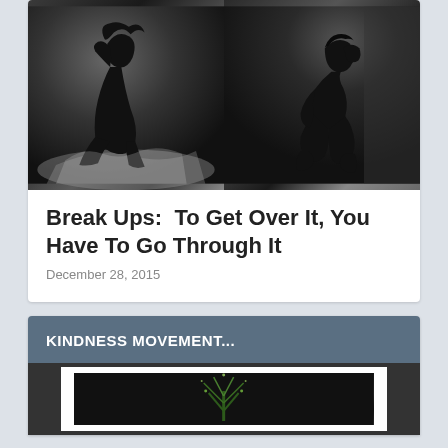[Figure (photo): Black and white split photo: left side shows a woman sitting on a bed with head in hand, right side shows a man sitting with knees up looking away — both depicting emotional distress after a breakup]
Break Ups:  To Get Over It, You Have To Go Through It
December 28, 2015
KINDNESS MOVEMENT...
[Figure (photo): Dark photograph with what appears to be a firework or plant silhouette against a black background, shown within a white-bordered frame on a dark background card]